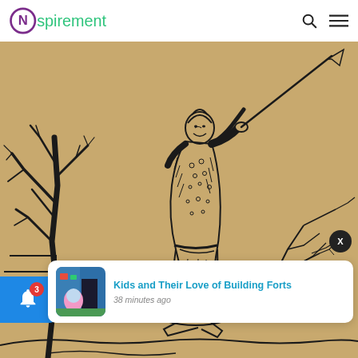Nspirement
[Figure (illustration): A Chinese ink-style illustration on tan/khaki paper background showing a figure in traditional robes holding a long pole or weapon, standing near bare winter trees. The figure is drawn in black line art in a classical East Asian style.]
Kids and Their Love of Building Forts
38 minutes ago